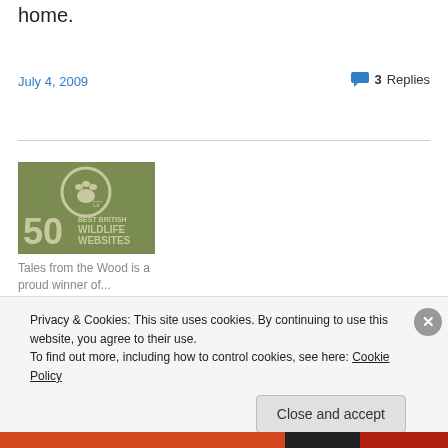home.
July 4, 2009
3 Replies
[Figure (logo): 50 Best British Wildlife Websites badge — olive green background with a paw print in a circle and bold white text]
Tales from the Wood is a proud winner of...
Privacy & Cookies: This site uses cookies. By continuing to use this website, you agree to their use.
To find out more, including how to control cookies, see here: Cookie Policy
Close and accept